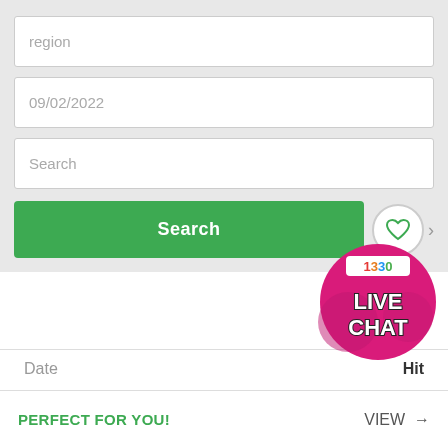region
09/02/2022
Search
Search
[Figure (infographic): Live chat badge: circular pink/magenta badge with '1330' in colorful letters and 'LIVE CHAT' in large white bold text with dark outline]
Date
Hit
PERFECT FOR YOU!
VIEW →